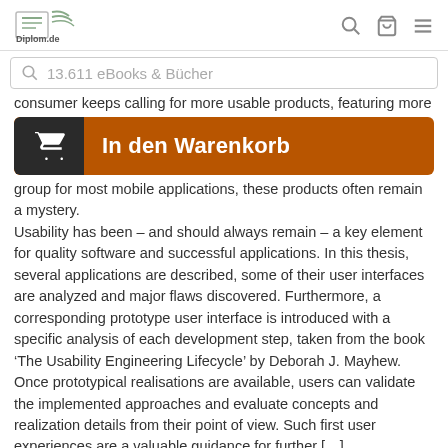Diplom.de
13.611 eBooks & Bücher
consumer keeps calling for more usable products, featuring more
[Figure (other): Orange 'In den Warenkorb' (Add to cart) button with dark cart icon on left]
group for most mobile applications, these products often remain a mystery.
Usability has been – and should always remain – a key element for quality software and successful applications. In this thesis, several applications are described, some of their user interfaces are analyzed and major flaws discovered. Furthermore, a corresponding prototype user interface is introduced with a specific analysis of each development step, taken from the book 'The Usability Engineering Lifecycle' by Deborah J. Mayhew. Once prototypical realisations are available, users can validate the implemented approaches and evaluate concepts and realization details from their point of view. Such first user experiences are a valuable guidance for further [...]
Details